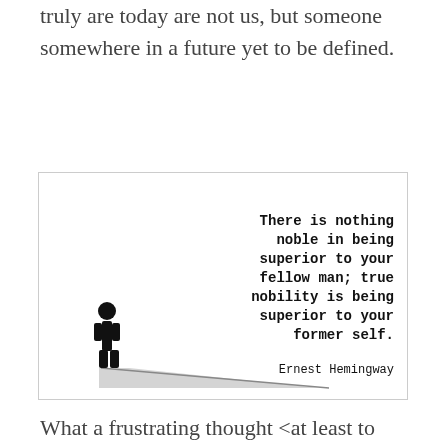truly are today are not us, but someone somewhere in a future yet to be defined.
[Figure (illustration): Quote image with a silhouette of a man standing and casting a long shadow. Text reads: 'There is nothing noble in being superior to your fellow man; true nobility is being superior to your former self.' — Ernest Hemingway]
What a frustrating thought <at least to me>.
And yet